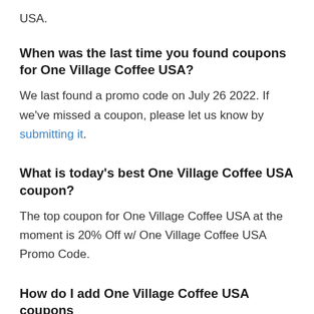USA.
When was the last time you found coupons for One Village Coffee USA?
We last found a promo code on July 26 2022. If we've missed a coupon, please let us know by submitting it.
What is today's best One Village Coffee USA coupon?
The top coupon for One Village Coffee USA at the moment is 20% Off w/ One Village Coffee USA Promo Code.
How do I add One Village Coffee USA coupons